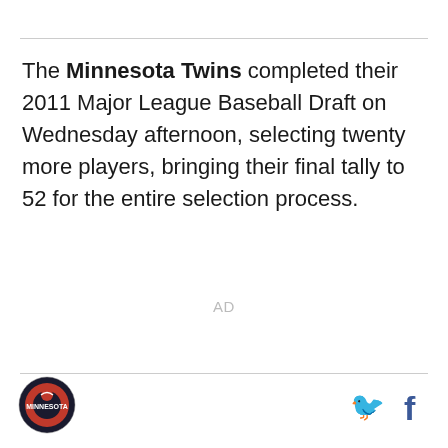The Minnesota Twins completed their 2011 Major League Baseball Draft on Wednesday afternoon, selecting twenty more players, bringing their final tally to 52 for the entire selection process.
AD
[Figure (logo): Minnesota Twins circular logo with red and dark background]